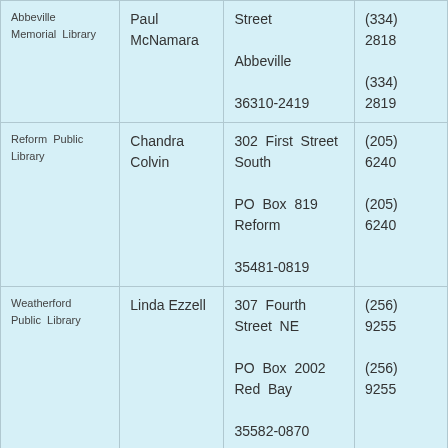| Library | Contact | Address | Phone |
| --- | --- | --- | --- |
| Abbeville Memorial Library | Paul McNamara | Street
Abbeville
36310-2419 | (334)
2818
(334)
2819 |
| Reform Public Library | Chandra Colvin | 302 First Street South
PO Box 819 Reform
35481-0819 | (205)
6240
(205)
6240 |
| Weatherford Public Library | Linda Ezzell | 307 Fourth Street NE
PO Box 2002 Red Bay
35582-0870 | (256)
9255
(256)
9255 |
| Daleville Public Library | Kathryn Brown | 308 Donnell Blvd
Daleville
36322-2118 | (334)
9119
(334)
9119 |
|  |  | 309 Fort Dale Street |  |